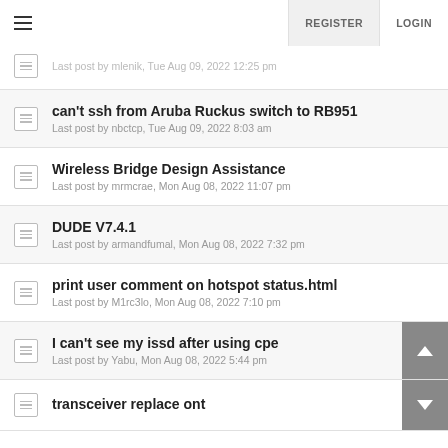REGISTER  LOGIN
Last post by mlenik, Tue Aug 09, 2022 12:25 pm
can't ssh from Aruba Ruckus switch to RB951
Last post by nbctcp, Tue Aug 09, 2022 8:03 am
Wireless Bridge Design Assistance
Last post by mrmcrae, Mon Aug 08, 2022 11:07 pm
DUDE V7.4.1
Last post by armandfumal, Mon Aug 08, 2022 7:32 pm
print user comment on hotspot status.html
Last post by M1rc3lo, Mon Aug 08, 2022 7:10 pm
I can't see my issd after using cpe
Last post by Yabu, Mon Aug 08, 2022 5:44 pm
transceiver replace ont